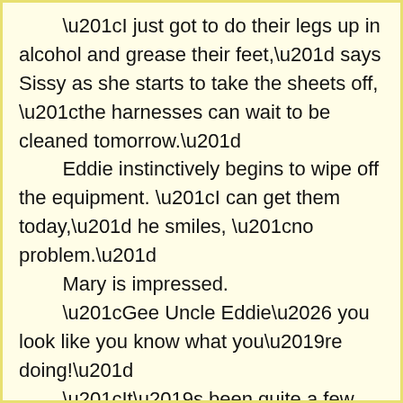“I just got to do their legs up in alcohol and grease their feet,” says Sissy as she starts to take the sheets off, “the harnesses can wait to be cleaned tomorrow.”
	Eddie instinctively begins to wipe off the equipment. “I can get them today,” he smiles, “no problem.”
	Mary is impressed.
	“Gee Uncle Eddie… you look like you know what you’re doing!”
	“It’s been quite a few years,” he laughs.
	One horse juts his head out of his stall and rolls it wildly.
	“Why’s he doing that?” asks a perplexed Steven.
	“That’s Bert,” grins Sissy, “he’s a loveable pain-in-the-ass. He thinks he’s the star of the barn and if you don’t pay attention to him first then he raises all types of fuss.”